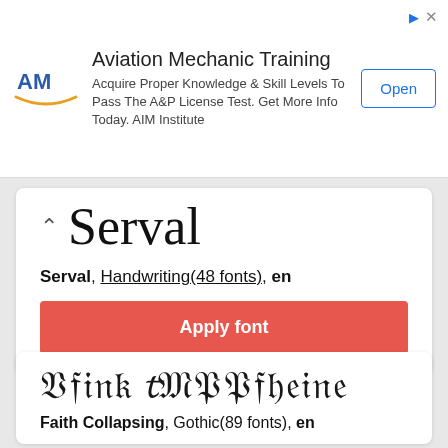[Figure (infographic): Advertisement banner for Aviation Mechanic Training by AIM Institute. Includes AM logo, title text, description, and Open button.]
Aviation Mechanic Training
Acquire Proper Knowledge & Skill Levels To Pass The A&P License Test. Get More Info Today. AIM Institute
[Figure (illustration): Serval font name displayed in cursive/script handwriting style]
Serval, Handwriting(48 fonts), en
Apply font
[Figure (illustration): Faith Collapsing font name displayed in gothic/blackletter style]
Faith Collapsing, Gothic(89 fonts), en